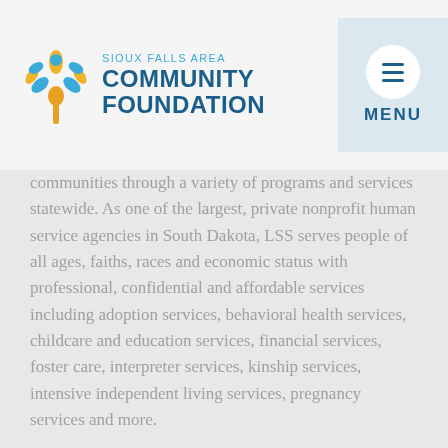[Figure (logo): Sioux Falls Area Community Foundation logo with stylized tree/person icon in yellow and teal, organization name in blue]
communities through a variety of programs and services statewide. As one of the largest, private nonprofit human service agencies in South Dakota, LSS serves people of all ages, faiths, races and economic status with professional, confidential and affordable services including adoption services, behavioral health services, childcare and education services, financial services, foster care, interpreter services, kinship services, intensive independent living services, pregnancy services and more.
The Youth Advisory Council grant will support the organization's PATH Program, a partnership of LSS, the Sioux Empire United Way and Sioux Falls area school districts to meet the mental health